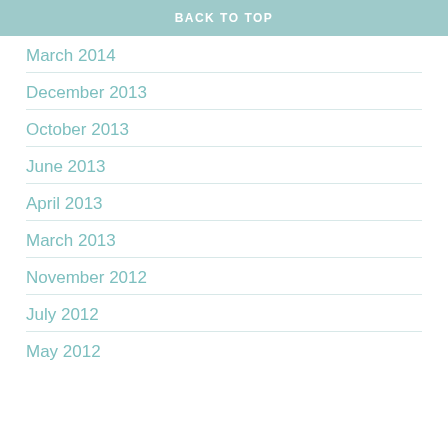BACK TO TOP
March 2014
December 2013
October 2013
June 2013
April 2013
March 2013
November 2012
July 2012
May 2012